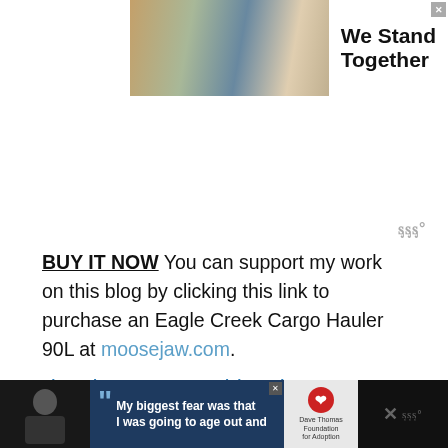[Figure (photo): Advertisement banner at top showing group of people standing together with arms around each other (backs to camera), with text 'We Stand Together' on the right side. A close/X button in top right corner.]
[Figure (other): Small weather widget icon (three vertical wavy lines with degree symbol) in gray, positioned right side middle area.]
BUY IT NOW You can support my work on this blog by clicking this link to purchase an Eagle Creek Cargo Hauler 90L at moosejaw.com.
Planning your next big adventure? See
[Figure (photo): Advertisement banner at bottom showing person wearing beanie in dark setting on the left, center text 'My biggest fear was that I was going to age out and' in white with large quotation mark, Dave Thomas Foundation for Adoption logo, and partial elements on the right side. Close/X button on the ad.]